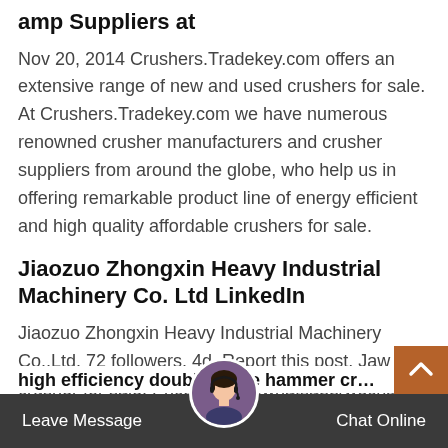amp Suppliers at
Nov 20, 2014 Crushers.Tradekey.com offers an extensive range of new and used crushers for sale. At Crushers.Tradekey.com we have numerous renowned crusher manufacturers and crusher suppliers from around the globe, who help us in offering remarkable product line of energy efficient and high quality affordable crushers for sale.
Jiaozuo Zhongxin Heavy Industrial Machinery Co. Ltd LinkedIn
Jiaozuo Zhongxin Heavy Industrial Machinery Co.,Ltd. 72 followers. 4d. Report this post. Jaw crusher for sale. Price&details:whatsapp/wechat: +86-13676922906, my email: sales@zxcrusher.c # ...
Leave Message   Chat Online
high efficiency double stage hammer crusher